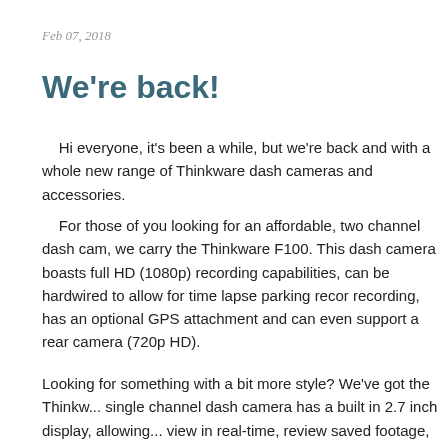Feb 07, 2018
We're back!
Hi everyone, it's been a while, but we're back and with a whole new range of Thinkware dash cameras and accessories.
For those of you looking for an affordable, two channel dash cam, we carry the Thinkware F100. This dash camera boasts full HD (1080p) recording capabilities, can be hardwired to allow for time lapse parking record recording, has an optional GPS attachment and can even support a rear camera (720p HD).
Looking for something with a bit more style? We've got the Thinkware... single channel dash camera has a built in 2.7 inch display, allowing... view in real-time, review saved footage, and change settings witho... memory card to an external device.
If you're looking for the absolute top of the line dash camera, then... for you. This two channel, full HD dash camera comes with a host... features, including a built-in GPS, full smart phone connectivity...